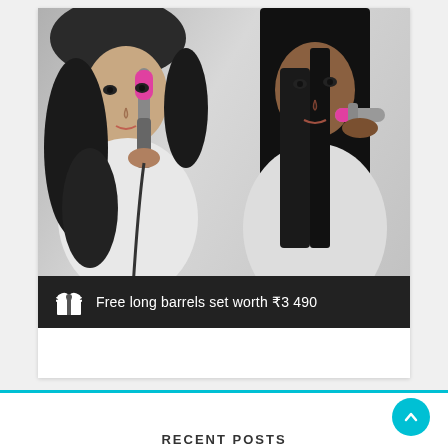[Figure (photo): Two female models in black and white photo — left model with curly dark hair using a Dyson Airwrap styler, right model with straight long dark hair using a Dyson brush attachment. Both wear white tops. Models hold pink and silver Dyson hair styling tools. Dark banner overlay at bottom reads: gift icon then 'Free long barrels set worth ₹3 490'.]
Free long barrels set worth ₹3 490
RECENT POSTS